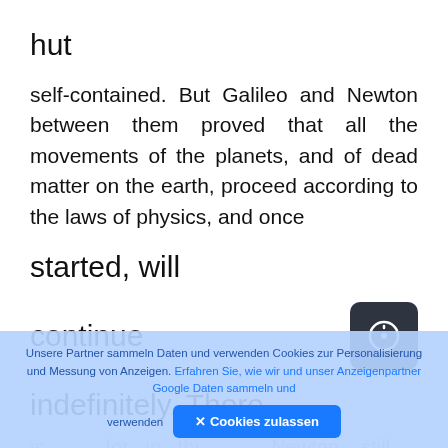hut
self-contained. But Galileo and Newton between them proved that all the movements of the planets, and of dead matter on the earth, proceed according to the laws of physics, and once
started, will
continue
indefinitely. There
is ... Newton still
Unsere Partner sammeln Daten und verwenden Cookies zur Personalisierung und Messung von Anzeigen. Erfahren Sie, wie wir und unser Anzeigenpartner Google Daten sammeln und verwenden
✕ Cookies zulassen